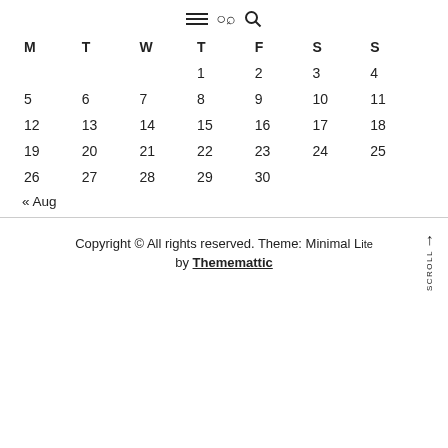[Figure (other): Hamburger menu icon (three horizontal lines) and a search (magnifying glass) icon]
| M | T | W | T | F | S | S |
| --- | --- | --- | --- | --- | --- | --- |
|  |  |  | 1 | 2 | 3 | 4 |
| 5 | 6 | 7 | 8 | 9 | 10 | 11 |
| 12 | 13 | 14 | 15 | 16 | 17 | 18 |
| 19 | 20 | 21 | 22 | 23 | 24 | 25 |
| 26 | 27 | 28 | 29 | 30 |  |  |
« Aug
Copyright © All rights reserved. Theme: Minimal Lite by Thememattic